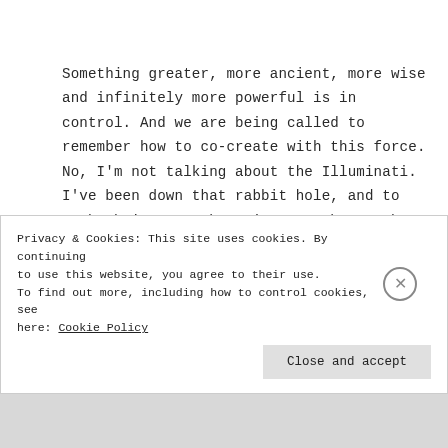Something greater, more ancient, more wise and infinitely more powerful is in control. And we are being called to remember how to co-create with this force. No, I'm not talking about the Illuminati. I've been down that rabbit hole, and to each their own. The universe, the earth, all of life, our bodies, exist upon cyclical, spiraling ...
Privacy & Cookies: This site uses cookies. By continuing to use this website, you agree to their use.
To find out more, including how to control cookies, see here: Cookie Policy

Close and accept